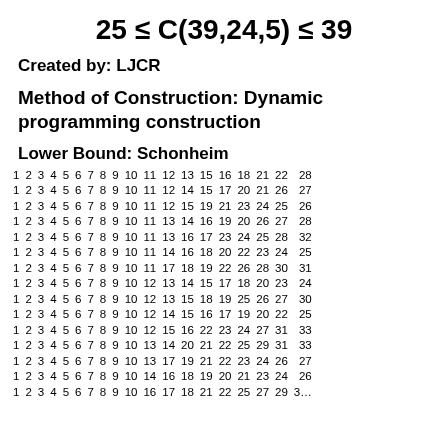Created by: LJCR
Method of Construction: Dynamic programming construction
Lower Bound: Schonheim
| 1 | 2 | 3 | 4 | 5 | 6 | 7 | 8 | 9 | 10 | 11 | 12 | 13 | 15 | 16 | 18 | 21 | 22 | 28 |
| 1 | 2 | 3 | 4 | 5 | 6 | 7 | 8 | 9 | 10 | 11 | 12 | 14 | 15 | 17 | 20 | 21 | 26 | 27 |
| 1 | 2 | 3 | 4 | 5 | 6 | 7 | 8 | 9 | 10 | 11 | 12 | 15 | 19 | 21 | 23 | 24 | 25 | 26 |
| 1 | 2 | 3 | 4 | 5 | 6 | 7 | 8 | 9 | 10 | 11 | 13 | 14 | 16 | 19 | 20 | 26 | 27 | 28 |
| 1 | 2 | 3 | 4 | 5 | 6 | 7 | 8 | 9 | 10 | 11 | 13 | 16 | 17 | 23 | 24 | 25 | 28 | 32 |
| 1 | 2 | 3 | 4 | 5 | 6 | 7 | 8 | 9 | 10 | 11 | 14 | 16 | 18 | 20 | 22 | 23 | 24 | 25 |
| 1 | 2 | 3 | 4 | 5 | 6 | 7 | 8 | 9 | 10 | 11 | 17 | 18 | 19 | 22 | 26 | 28 | 30 | 31 |
| 1 | 2 | 3 | 4 | 5 | 6 | 7 | 8 | 9 | 10 | 12 | 13 | 14 | 15 | 17 | 18 | 20 | 23 | 24 |
| 1 | 2 | 3 | 4 | 5 | 6 | 7 | 8 | 9 | 10 | 12 | 13 | 15 | 18 | 19 | 25 | 26 | 27 | 30 |
| 1 | 2 | 3 | 4 | 5 | 6 | 7 | 8 | 9 | 10 | 12 | 14 | 15 | 16 | 17 | 19 | 20 | 22 | 25 |
| 1 | 2 | 3 | 4 | 5 | 6 | 7 | 8 | 9 | 10 | 12 | 15 | 16 | 22 | 23 | 24 | 27 | 31 | 33 |
| 1 | 2 | 3 | 4 | 5 | 6 | 7 | 8 | 9 | 10 | 13 | 14 | 20 | 21 | 22 | 25 | 29 | 31 | 33 |
| 1 | 2 | 3 | 4 | 5 | 6 | 7 | 8 | 9 | 10 | 13 | 17 | 19 | 21 | 22 | 23 | 24 | 26 | 27 |
| 1 | 2 | 3 | 4 | 5 | 6 | 7 | 8 | 9 | 10 | 14 | 16 | 18 | 19 | 20 | 21 | 23 | 24 | 26 |
| 1 | 2 | 3 | 4 | 5 | 6 | 7 | 8 | 9 | 10 | 16 | 17 | 18 | 21 | 22 | 25 | 27 | 29 | 3… |